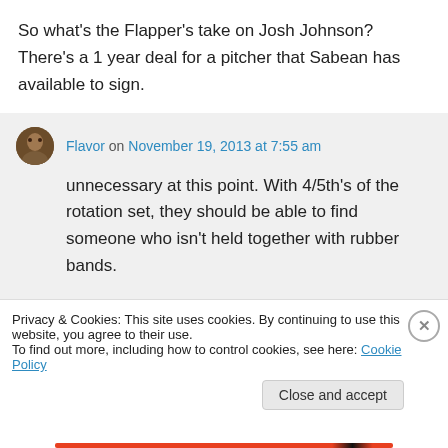So what's the Flapper's take on Josh Johnson? There's a 1 year deal for a pitcher that Sabean has available to sign.
Flavor on November 19, 2013 at 7:55 am
unnecessary at this point. With 4/5th's of the rotation set, they should be able to find someone who isn't held together with rubber bands.
Privacy & Cookies: This site uses cookies. By continuing to use this website, you agree to their use.
To find out more, including how to control cookies, see here: Cookie Policy